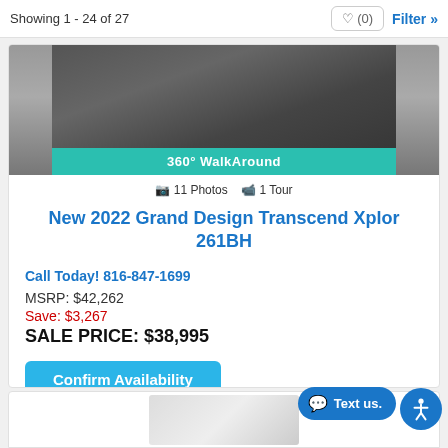Showing 1 - 24 of 27
[Figure (photo): Photo of RV/trailer exterior with 360° WalkAround banner overlay]
11 Photos  1 Tour
New 2022 Grand Design Transcend Xplor 261BH
Call Today! 816-847-1699
MSRP: $42,262
Save: $3,267
SALE PRICE: $38,995
Confirm Availability
Favorite